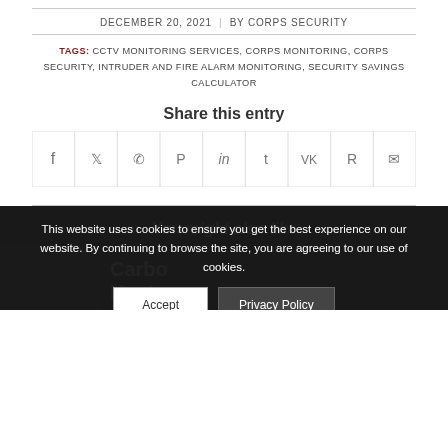DECEMBER 20, 2021 | BY CORPS SECURITY
TAGS: CCTV MONITORING SERVICES, CORPS MONITORING, CORPS SECURITY, INTRUDER AND FIRE ALARM MONITORING, SECURITY SAVINGS CALCULATOR
Share this entry
[Figure (infographic): Social sharing icons row: Facebook, Twitter, WhatsApp, Pinterest, LinkedIn, Tumblr, VK, Reddit, Email]
You might also like
This website uses cookies to ensure you get the best experience on our website. By continuing to browse the site, you are agreeing to our use of cookies.
Accept | Privacy Policy